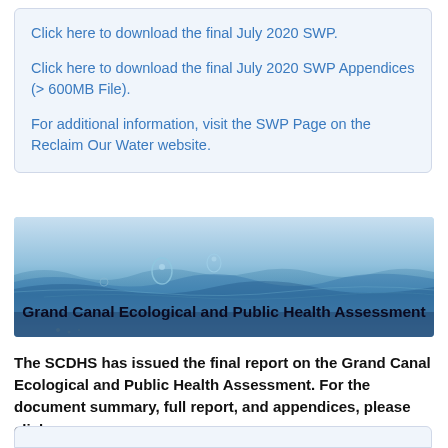Click here to download the final July 2020 SWP.

Click here to download the final July 2020 SWP Appendices (> 600MB File).

For additional information, visit the SWP Page on the Reclaim Our Water website.
[Figure (illustration): Banner image with water/ripple background and bold text reading 'Grand Canal Ecological and Public Health Assessment']
The SCDHS has issued the final report on the Grand Canal Ecological and Public Health Assessment. For the document summary, full report, and appendices, please click on: